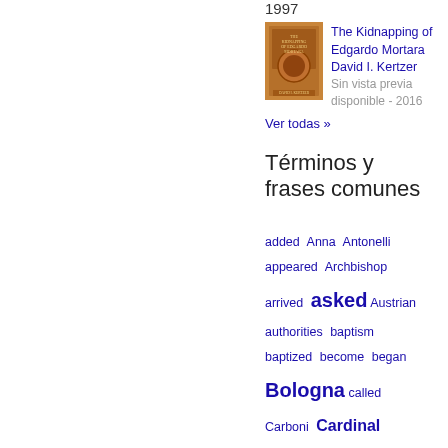1997
[Figure (photo): Book cover of The Kidnapping of Edgardo Mortara]
The Kidnapping of Edgardo Mortara David I. Kertzer Sin vista previa disponible - 2016
Ver todas »
Términos y frases comunes
added Anna Antonelli appeared Archbishop arrived asked Austrian authorities baptism baptized become began Bologna called Carboni Cardinal Catechumens Catholic